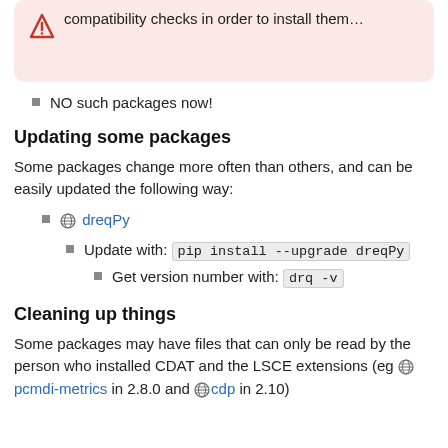compatibility checks in order to install them…
NO such packages now!
Updating some packages
Some packages change more often than others, and can be easily updated the following way:
dreqPy
Update with: pip install --upgrade dreqPy
Get version number with: drq -v
Cleaning up things
Some packages may have files that can only be read by the person who installed CDAT and the LSCE extensions (eg pcmdi-metrics in 2.8.0 and cdp in 2.10)